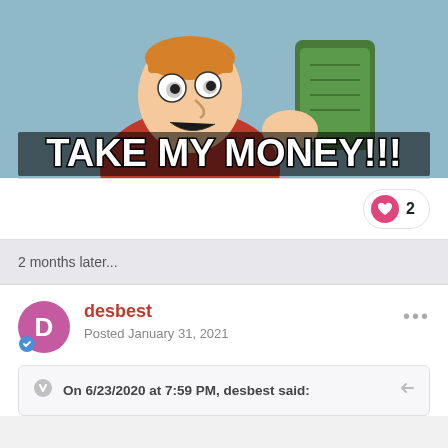[Figure (illustration): Futurama meme showing Fry holding money with text 'TAKE MY MONEY!!!']
2 months later...
desbest
Posted January 31, 2021
On 6/23/2020 at 7:59 PM, desbest said: